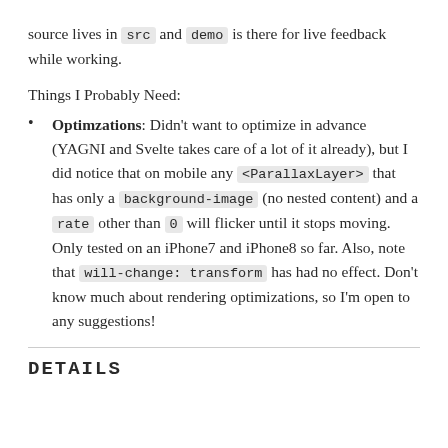source lives in src and demo is there for live feedback while working.
Things I Probably Need:
Optimzations: Didn't want to optimize in advance (YAGNI and Svelte takes care of a lot of it already), but I did notice that on mobile any <ParallaxLayer> that has only a background-image (no nested content) and a rate other than 0 will flicker until it stops moving. Only tested on an iPhone7 and iPhone8 so far. Also, note that will-change: transform has had no effect. Don't know much about rendering optimizations, so I'm open to any suggestions!
DETAILS